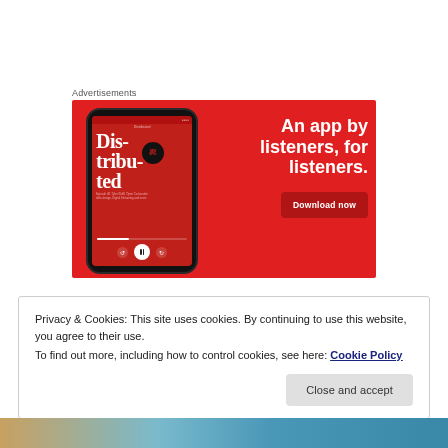Advertisements
[Figure (illustration): Advertisement banner with red background showing a smartphone displaying a podcast app with 'Dis-tribu-ted' on screen, and text 'An app by listeners, for listeners.' with a 'Download now' button.]
Privacy & Cookies: This site uses cookies. By continuing to use this website, you agree to their use.
To find out more, including how to control cookies, see here: Cookie Policy
Close and accept